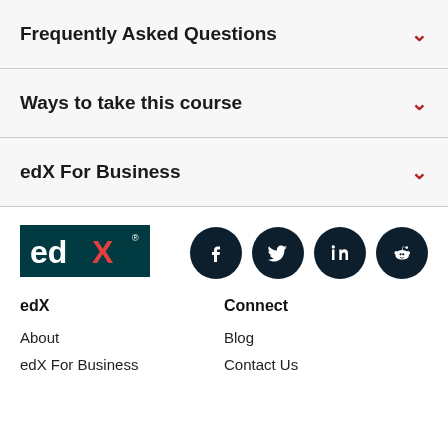Frequently Asked Questions
Ways to take this course
edX For Business
[Figure (logo): edX logo — white text 'edX' on dark teal background with X slash]
[Figure (infographic): Social media icons: Facebook, Twitter, LinkedIn, Reddit — dark circular buttons]
edX
Connect
About
Blog
edX For Business
Contact Us